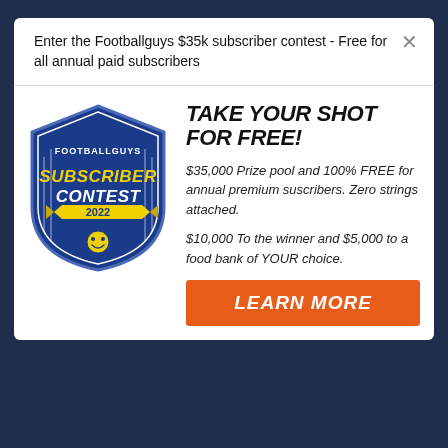Enter the Footballguys $35k subscriber contest - Free for all annual paid subscribers
TAKE YOUR SHOT FOR FREE!
[Figure (logo): Footballguys Subscriber Contest 2022 shield badge logo with yellow text and smiley face]
$35,000 Prize pool and 100% FREE for annual premium suscribers. Zero strings attached.
$10,000 To the winner and $5,000 to a food bank of YOUR choice.
LEARN MORE